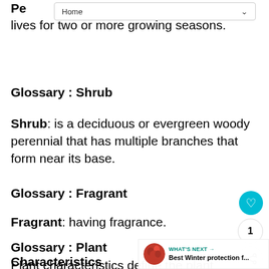Pe... at lives for two or more growing seasons.
Glossary : Shrub
Shrub: is a deciduous or evergreen woody perennial that has multiple branches that form near its base.
Glossary : Fragrant
Fragrant: having fragrance.
Glossary : Plant Characteristics
Plant characteristics define the plant, enabling